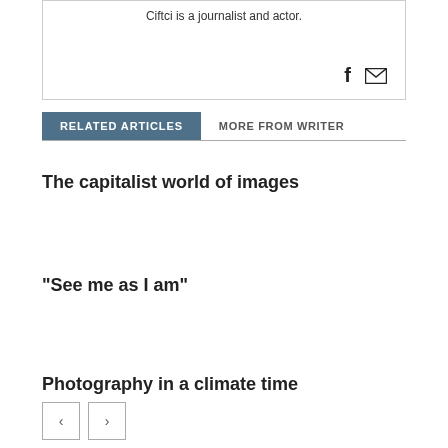Ciftci is a journalist and actor.
RELATED ARTICLES
MORE FROM WRITER
The capitalist world of images
"See me as I am"
Photography in a climate time